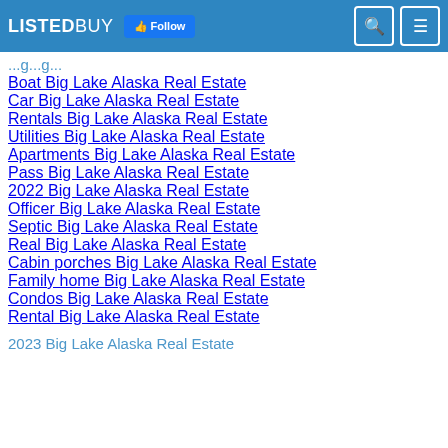LISTEDBUY Follow
Boat Big Lake Alaska Real Estate
Car Big Lake Alaska Real Estate
Rentals Big Lake Alaska Real Estate
Utilities Big Lake Alaska Real Estate
Apartments Big Lake Alaska Real Estate
Pass Big Lake Alaska Real Estate
2022 Big Lake Alaska Real Estate
Officer Big Lake Alaska Real Estate
Septic Big Lake Alaska Real Estate
Real Big Lake Alaska Real Estate
Cabin porches Big Lake Alaska Real Estate
Family home Big Lake Alaska Real Estate
Condos Big Lake Alaska Real Estate
Rental Big Lake Alaska Real Estate
2023 Big Lake Alaska Real Estate